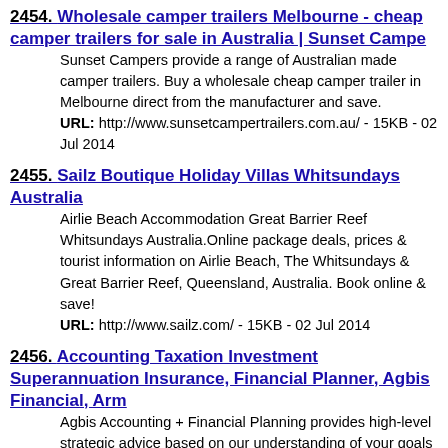2454. Wholesale camper trailers Melbourne - cheap camper trailers for sale in Australia | Sunset Campe
Sunset Campers provide a range of Australian made camper trailers. Buy a wholesale cheap camper trailer in Melbourne direct from the manufacturer and save.
URL: http://www.sunsetcampertrailers.com.au/ - 15KB - 02 Jul 2014
2455. Sailz Boutique Holiday Villas Whitsundays Australia
Airlie Beach Accommodation Great Barrier Reef Whitsundays Australia.Online package deals, prices & tourist information on Airlie Beach, The Whitsundays & Great Barrier Reef, Queensland, Australia. Book online & save!
URL: http://www.sailz.com/ - 15KB - 02 Jul 2014
2456. Accounting Taxation Investment Superannuation Insurance, Financial Planner, Agbis Financial, Arm
Agbis Accounting + Financial Planning provides high-level strategic advice based on our understanding of your goals and financial position. Through our commitment to our clients and use of leading edge technology we provide